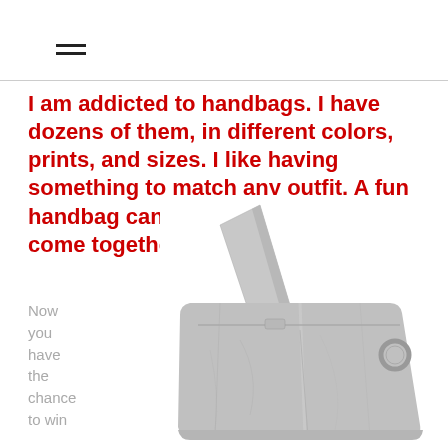≡
I am addicted to handbags. I have dozens of them, in different colors, prints, and sizes. I like having something to match any outfit. A fun handbag can really make a look come together!
Now you have the chance to win
[Figure (photo): Silver/metallic leather hobo handbag with long strap, photographed on white background]